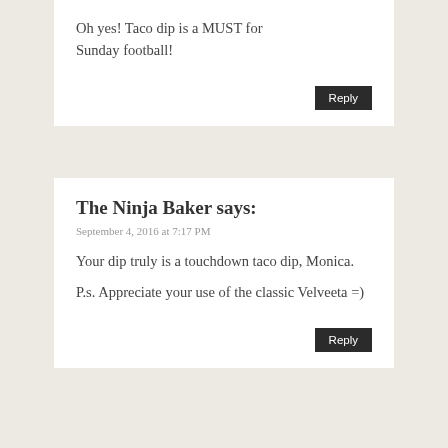Oh yes! Taco dip is a MUST for Sunday football!
Reply
The Ninja Baker says:
September 4, 2016 at 7:17 PM
Your dip truly is a touchdown taco dip, Monica.
P.s. Appreciate your use of the classic Velveeta =)
Reply